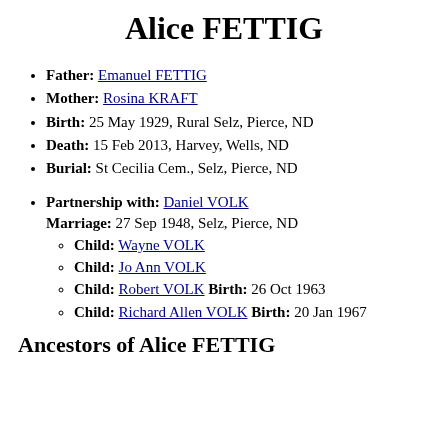Alice FETTIG
Father: Emanuel FETTIG
Mother: Rosina KRAFT
Birth: 25 May 1929, Rural Selz, Pierce, ND
Death: 15 Feb 2013, Harvey, Wells, ND
Burial: St Cecilia Cem., Selz, Pierce, ND
Partnership with: Daniel VOLK
Marriage: 27 Sep 1948, Selz, Pierce, ND
  Child: Wayne VOLK
  Child: Jo Ann VOLK
  Child: Robert VOLK Birth: 26 Oct 1963
  Child: Richard Allen VOLK Birth: 20 Jan 1967
Ancestors of Alice FETTIG